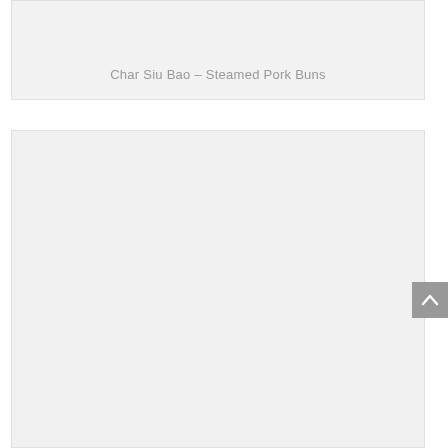[Figure (photo): Top image card showing a light gray placeholder area for a food photo]
Char Siu Bao – Steamed Pork Buns
[Figure (photo): Bottom large image card showing a light gray placeholder area for a food photo]